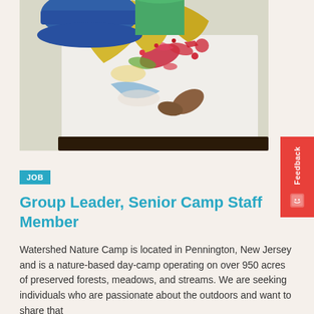[Figure (photo): Child wearing a blue hat and yellow shirt leaning over a white surface covered in colorful paint splatters and artwork, doing a painting activity outdoors.]
JOB
Group Leader, Senior Camp Staff Member
Watershed Nature Camp is located in Pennington, New Jersey and is a nature-based day-camp operating on over 950 acres of preserved forests, meadows, and streams. We are seeking individuals who are passionate about the outdoors and want to share that